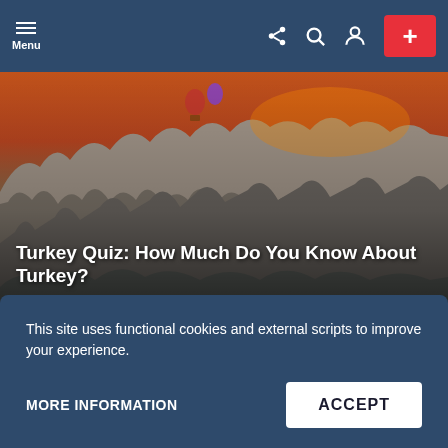Menu
[Figure (photo): Cappadocia rocky landscape in Turkey with hot air balloons at sunset, dramatic orange and red sky]
Turkey Quiz: How Much Do You Know About Turkey?
PLAY THE QUIZ
[Figure (photo): Light gray placeholder card on the left side]
[Figure (photo): Aerial view of Abu Dhabi or Dubai skyline with modern skyscrapers and coastline]
This site uses functional cookies and external scripts to improve your experience.
MORE INFORMATION
ACCEPT
by Alper Aydin
by Alper Aydin